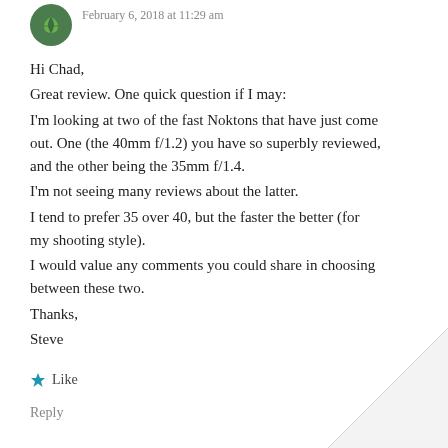February 6, 2018 at 11:29 am
Hi Chad,
Great review. One quick question if I may:
I'm looking at two of the fast Noktons that have just come out. One (the 40mm f/1.2) you have so superbly reviewed, and the other being the 35mm f/1.4.
I'm not seeing many reviews about the latter.
I tend to prefer 35 over 40, but the faster the better (for my shooting style).
I would value any comments you could share in choosing between these two.
Thanks,
Steve
Like
Reply